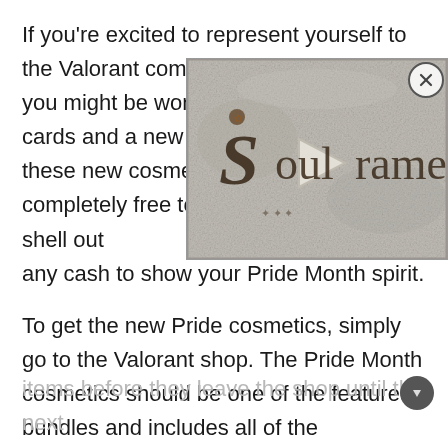If you're excited to represent yourself to the Valorant community or show you might be wondering how cards and a new gun buddy. these new cosmetics is very completely free too, so you won't have to shell out any cash to show your Pride Month spirit.
[Figure (logo): Soulframe game logo on a textured stone/parchment background with gothic lettering, partially overlapping the text. A play button triangle is visible in the center.]
To get the new Pride cosmetics, simply go to the Valorant shop. The Pride Month cosmetics should be one of the featured bundles and includes all of the mentioned cosmetics above. As the bundle is free, it'll have a cost of 0 RP, so be sure to claim the
items before they leave the shop until the next